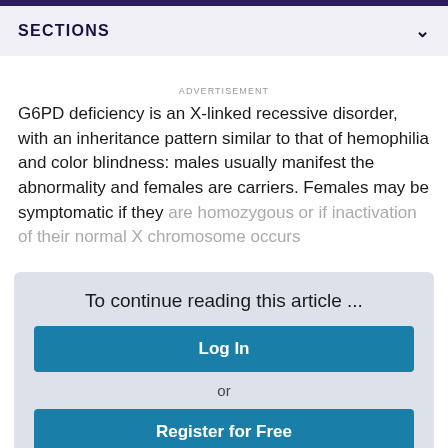SECTIONS
ADVERTISEMENT
G6PD deficiency is an X-linked recessive disorder, with an inheritance pattern similar to that of hemophilia and color blindness: males usually manifest the abnormality and females are carriers. Females may be symptomatic if they are homozygous or if inactivation of their normal X chromosome occurs
To continue reading this article ...
Log In
or
Register for Free